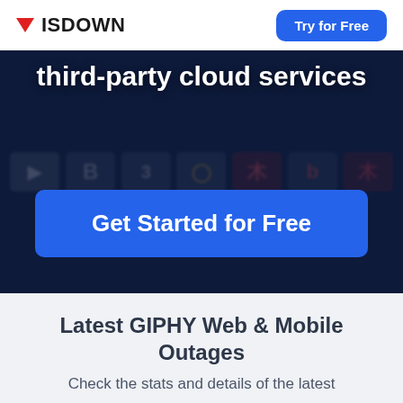ISDOWN | Try for Free
[Figure (screenshot): Dark blue hero section showing 'third-party cloud services' heading with blurred service logos in background and a blue 'Get Started for Free' call-to-action button]
Latest GIPHY Web & Mobile Outages
Check the stats and details of the latest